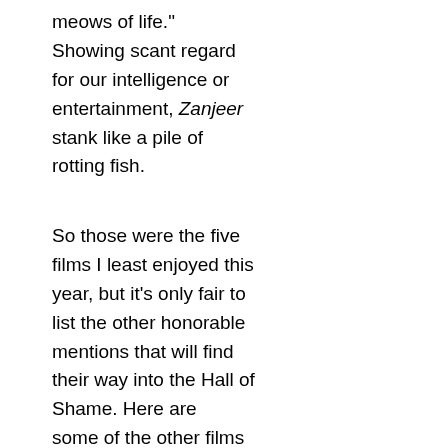meows of life." Showing scant regard for our intelligence or entertainment, Zanjeer stank like a pile of rotting fish.
So those were the five films I least enjoyed this year, but it's only fair to list the other honorable mentions that will find their way into the Hall of Shame. Here are some of the other films that were considred, pondered over, but